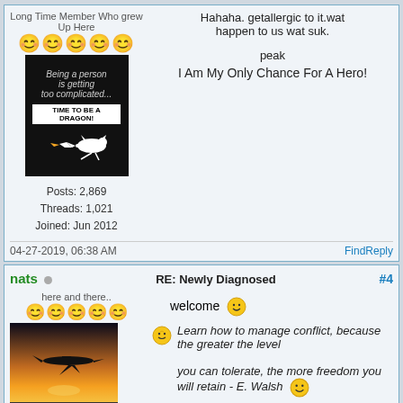Long Time Member Who grew Up Here
[Figure (illustration): Avatar image: black background with text 'Being a person is getting too complicated... TIME TO BE A DRAGON!' and a white dragon silhouette]
Posts: 2,869
Threads: 1,021
Joined: Jun 2012
Hahaha. getallergic to it.wat happen to us wat suk.

peak
I Am My Only Chance For A Hero!
04-27-2019, 06:38 AM   Find   Reply
nats
RE: Newly Diagnosed  #4
here and there..
[Figure (photo): Avatar photo: silhouette of a jet plane against a sunset sky]
Posts: 1,760
Threads: 89
Joined: Dec 2011
welcome 😊
Learn how to manage conflict, because the greater the level you can tolerate, the more freedom you will retain - E. Walsh 😊
04-27-2019, 05:37 PM   Find   Reply